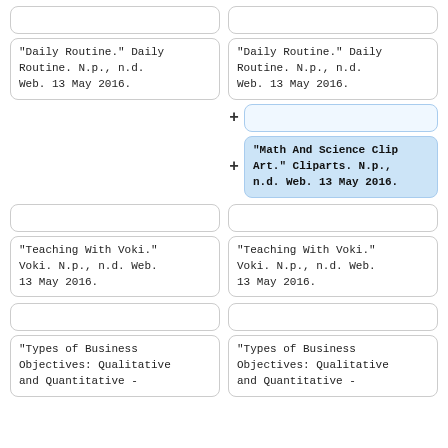"Daily Routine." Daily Routine. N.p., n.d. Web. 13 May 2016.
"Daily Routine." Daily Routine. N.p., n.d. Web. 13 May 2016.
"Math And Science Clip Art." Cliparts. N.p., n.d. Web. 13 May 2016.
"Teaching With Voki." Voki. N.p., n.d. Web. 13 May 2016.
"Teaching With Voki." Voki. N.p., n.d. Web. 13 May 2016.
"Types of Business Objectives: Qualitative and Quantitative -
"Types of Business Objectives: Qualitative and Quantitative -